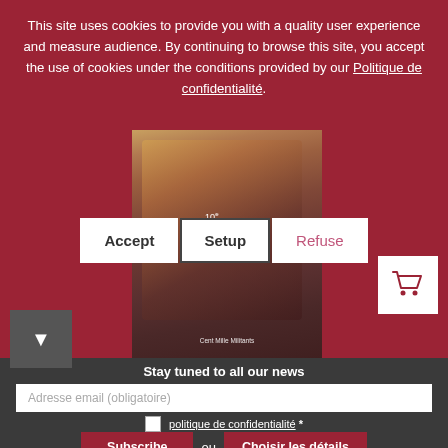This site uses cookies to provide you with a quality user experience and measure audience. By continuing to browse this site, you accept the use of cookies under the conditions provided by our Politique de confidentialité.
Accept | Setup | Refuse
[Figure (photo): Photo of crowd raising hands, book cover for Pan-Europa publication titled 'Cent Mille Militants']
Stay tuned to all our news
Adresse email (obligatoire)
politique de confidentialité *
Subscribe ou Choisir les détails